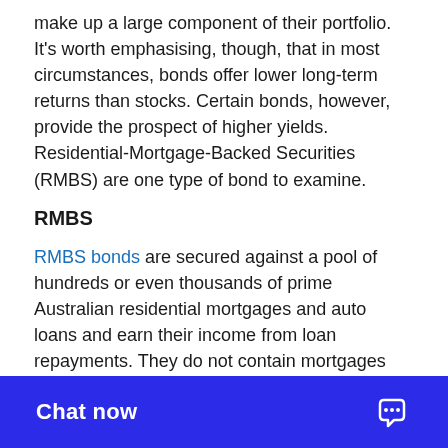make up a large component of their portfolio. It's worth emphasising, though, that in most circumstances, bonds offer lower long-term returns than stocks. Certain bonds, however, provide the prospect of higher yields. Residential-Mortgage-Backed Securities (RMBS) are one type of bond to examine.
RMBS
RMBS bonds are secured against a pool of hundreds or even thousands of prime Australian residential mortgages and auto loans and earn their income from loan repayments. They do not contain mortgages over any construction or development properties.
Due to their large size, RMBS are usually available only to institutional investors, but the Firstmac High Livez fund gives access for just $10,000 and more money can be invested in $1,000 increments if and when you want to.